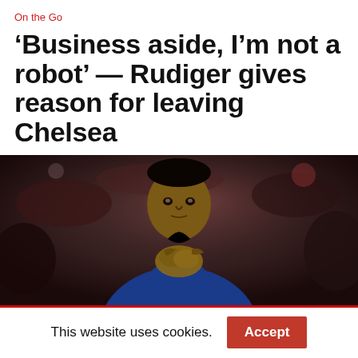On the Go
'Business aside, I’m not a robot’ — Rudiger gives reason for leaving Chelsea
[Figure (photo): A footballer wearing a blue Chelsea jersey applauding with hands clasped together, dark blurred background]
This website uses cookies.
Accept